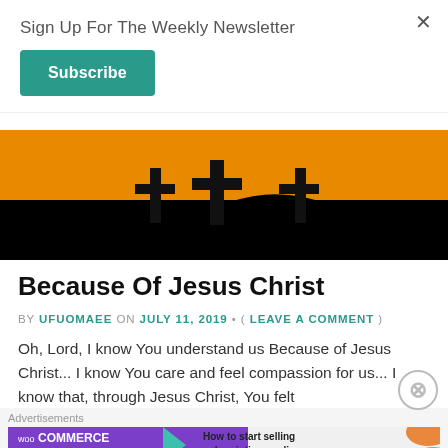Sign Up For The Weekly Newsletter
Subscribe
[Figure (photo): Silhouette of crosses against an orange/black sunset background]
Because Of Jesus Christ
BY UFUOMAEE ON JULY 11, 2019 • ( LEAVE A COMMENT )
Oh, Lord, I know You understand us Because of Jesus Christ... I know You care and feel compassion for us... I know that, through Jesus Christ, You felt
Advertisements
[Figure (screenshot): WooCommerce advertisement banner: How to start selling subscriptions online]